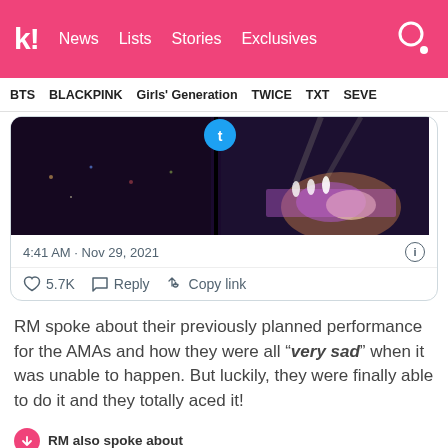k! News  Lists  Stories  Exclusives
BTS  BLACKPINK  Girls' Generation  TWICE  TXT  SEVE
[Figure (screenshot): Embedded tweet showing concert photo with crowd and stage lighting. Tweet timestamp: 4:41 AM · Nov 29, 2021. Likes: 5.7K. Actions: Reply, Copy link.]
RM spoke about their previously planned performance for the AMAs and how they were all "very sad" when it was unable to happen. But luckily, they were finally able to do it and they totally aced it!